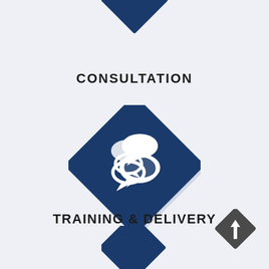[Figure (infographic): Dark blue diamond shape (rotated square) at the top center, partially cropped — part of a process flow diagram arrow pointing downward]
CONSULTATION
[Figure (infographic): Large dark blue diamond shape rotated 45 degrees with a white speech/chat bubbles icon in the center, representing consultation step in a process flow]
TRAINING & DELIVERY
[Figure (infographic): Small dark gray diamond shape in the bottom right with a white upward arrow icon]
[Figure (infographic): Dark blue diamond shape at the bottom center, partially cropped]